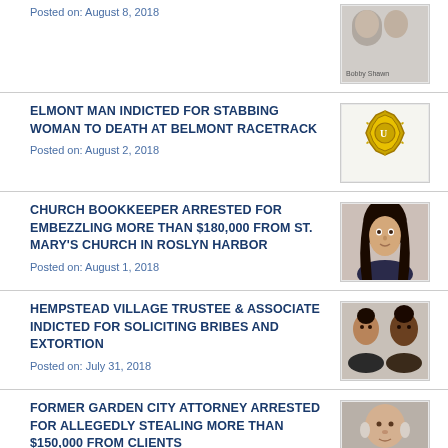Posted on: August 8, 2018
ELMONT MAN INDICTED FOR STABBING WOMAN TO DEATH AT BELMONT RACETRACK
Posted on: August 2, 2018
CHURCH BOOKKEEPER ARRESTED FOR EMBEZZLING MORE THAN $180,000 FROM ST. MARY'S CHURCH IN ROSLYN HARBOR
Posted on: August 1, 2018
HEMPSTEAD VILLAGE TRUSTEE & ASSOCIATE INDICTED FOR SOLICITING BRIBES AND EXTORTION
Posted on: July 31, 2018
FORMER GARDEN CITY ATTORNEY ARRESTED FOR ALLEGEDLY STEALING MORE THAN $150,000 FROM CLIENTS
Posted on: July 26, 2018